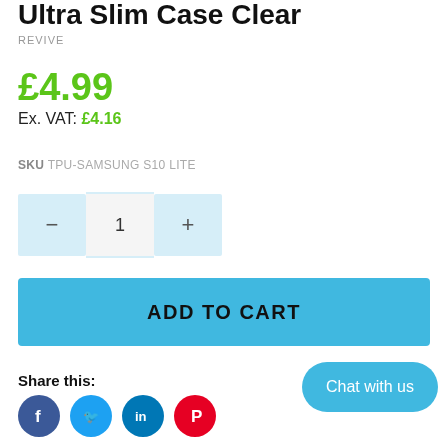Ultra Slim Case Clear
REVIVE
£4.99
Ex. VAT: £4.16
SKU TPU-SAMSUNG S10 LITE
1
ADD TO CART
Share this:
Chat with us